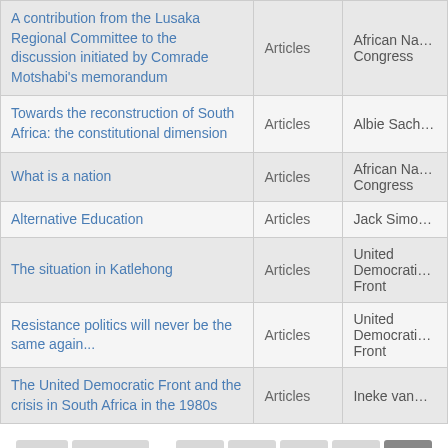| Title | Type | Author |
| --- | --- | --- |
| A contribution from the Lusaka Regional Committee to the discussion initiated by Comrade Motshabi's memorandum | Articles | African National Congress |
| Towards the reconstruction of South Africa: the constitutional dimension | Articles | Albie Sachs |
| What is a nation | Articles | African National Congress |
| Alternative Education | Articles | Jack Simon |
| The situation in Katlehong | Articles | United Democratic Front |
| Resistance politics will never be the same again... | Articles | United Democratic Front |
| The United Democratic Front and the crisis in South Africa in the 1980s | Articles | Ineke van |
« first ‹ previous ... 6 7 8 9 10 11 12 ... next › last »